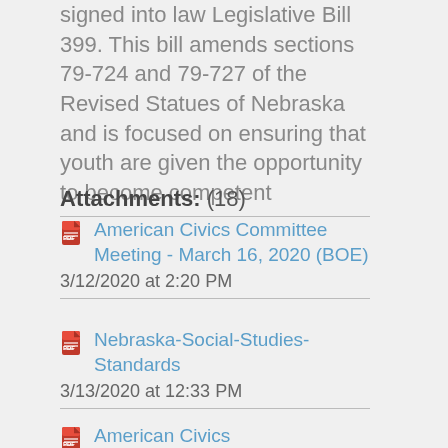signed into law Legislative Bill 399. This bill amends sections 79-724 and 79-727 of the Revised Statues of Nebraska and is focused on ensuring that youth are given the opportunity to become competent
Attachments: (18)
American Civics Committee Meeting - March 16, 2020 (BOE)
3/12/2020 at 2:20 PM
Nebraska-Social-Studies-Standards
3/13/2020 at 12:33 PM
American Civics